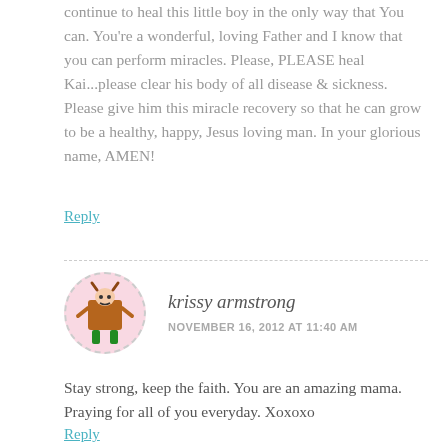continue to heal this little boy in the only way that You can. You're a wonderful, loving Father and I know that you can perform miracles. Please, PLEASE heal Kai...please clear his body of all disease & sickness. Please give him this miracle recovery so that he can grow to be a healthy, happy, Jesus loving man. In your glorious name, AMEN!
Reply
krissy armstrong
NOVEMBER 16, 2012 AT 11:40 AM
Stay strong, keep the faith. You are an amazing mama. Praying for all of you everyday. Xoxoxo
Reply